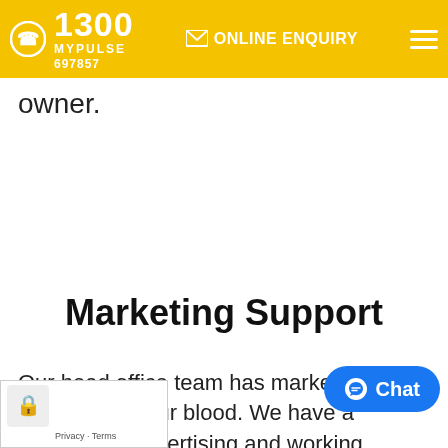1300 MYPULSE 697857 | ONLINE ENQUIRY
owner.
Marketing Support
Our head office team has marketing and promotion in our blood. We have a passion for advertising and working